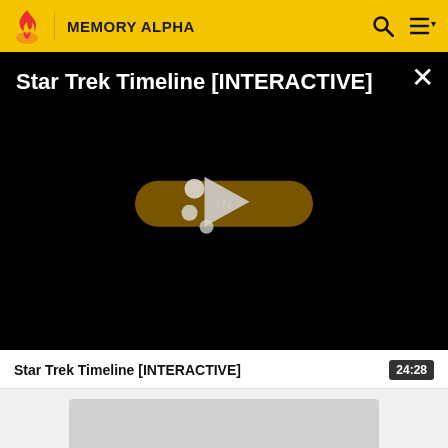Memory Alpha
[Figure (screenshot): Black video player overlay showing 'Star Trek Timeline [INTERACTIVE]' title in white text at top left, a close (X) button at top right, and a play button pill in the center with a brownish/gold background. A large play triangle icon is overlaid in the center.]
Star Trek Timeline [INTERACTIVE]
24:28
[Figure (screenshot): Light gray thumbnail placeholder rectangle below the title and duration badge.]